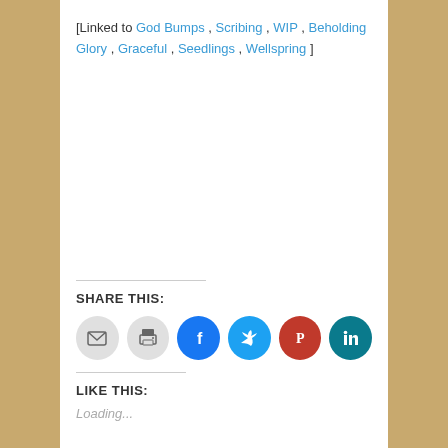[Linked to God Bumps , Scribing , WIP , Beholding Glory , Graceful , Seedlings , Wellspring ]
SHARE THIS:
[Figure (infographic): Row of six circular social share buttons: email (gray), print (gray), Facebook (blue), Twitter (cyan), Pinterest (red), LinkedIn (teal)]
LIKE THIS:
Loading...
RELATED